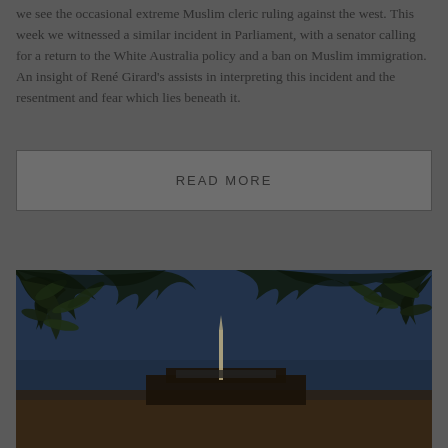we see the occasional extreme Muslim cleric ruling against the west. This week we witnessed a similar incident in Parliament, with a senator calling for a return to the White Australia policy and a ban on Muslim immigration. An insight of René Girard's assists in interpreting this incident and the resentment and fear which lies beneath it.
READ MORE
[Figure (photo): A dark nighttime or dusk photograph showing a building (appears to be the Australian Parliament House) seen through tree branches with leaves in the foreground. Dark blue-grey sky, silhouetted trees, and the iconic flagpole structure visible in the background.]